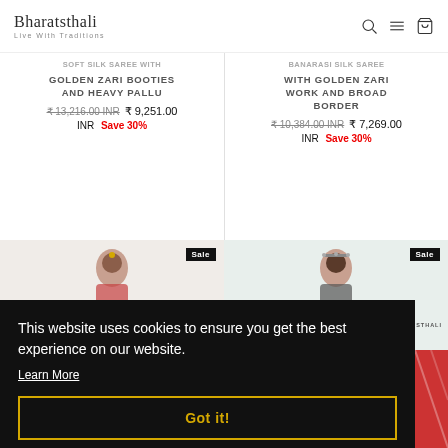Bharatsthali — Live With Traditions
GOLDEN ZARI BOOTIES AND HEAVY PALLU
₹ 13,216.00 INR ₹ 9,251.00 INR Save 30%
WITH GOLDEN ZARI WORK AND BROAD BORDER
₹ 10,384.00 INR ₹ 7,269.00 INR Save 30%
[Figure (photo): Two product listing images showing women in sarees, each with a Sale badge and BharatSthali watermark]
This website uses cookies to ensure you get the best experience on our website. Learn More Got it!